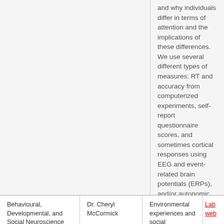and why individuals differ in terms of attention and the implications of these differences. We use several different types of measures: RT and accuracy from computerized experiments, self-report questionnaire scores, and sometimes cortical responses using EEG and event-related brain potentials (ERPs), and/or autonomic measures of arousal.
Behavioural, Developmental, and Social Neuroscience Lab
Dr. Cheryl McCormick
Environmental experiences and social interactions shape the development and function of the
Lab web